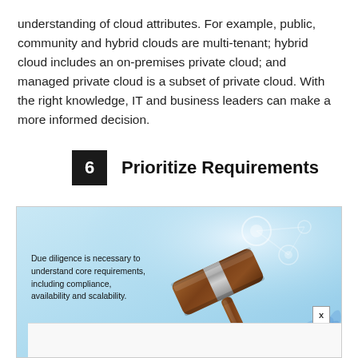understanding of cloud attributes. For example, public, community and hybrid clouds are multi-tenant; hybrid cloud includes an on-premises private cloud; and managed private cloud is a subset of private cloud. With the right knowledge, IT and business leaders can make a more informed decision.
6  Prioritize Requirements
[Figure (photo): A judge's wooden gavel on a light blue technology/cloud background with network graphics. Overlaid text reads: 'Due diligence is necessary to understand core requirements, including compliance, availability and scalability.' A small white box with an 'x' close button is visible at lower right.]